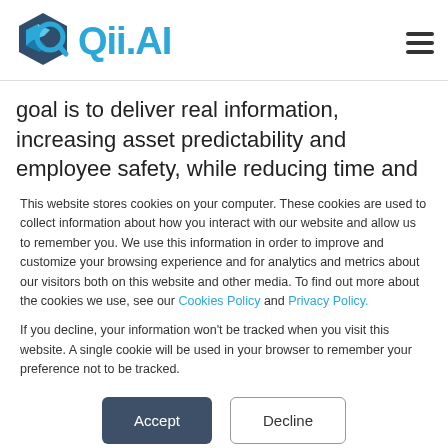[Figure (logo): Qii.AI logo with geometric blue hexagon/arrow icon and 'Qii.AI' text in blue, plus hamburger menu icon on the right]
goal is to deliver real information, increasing asset predictability and employee safety, while reducing time and effort.
This website stores cookies on your computer. These cookies are used to collect information about how you interact with our website and allow us to remember you. We use this information in order to improve and customize your browsing experience and for analytics and metrics about our visitors both on this website and other media. To find out more about the cookies we use, see our Cookies Policy and Privacy Policy.
If you decline, your information won't be tracked when you visit this website. A single cookie will be used in your browser to remember your preference not to be tracked.
Accept | Decline